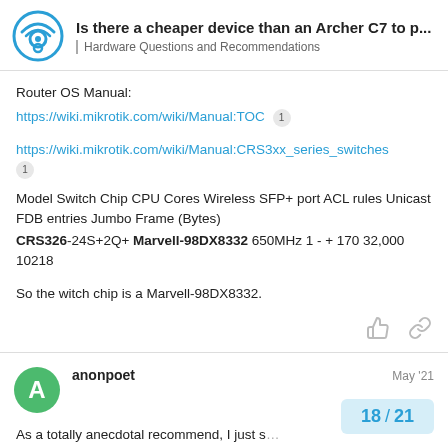Is there a cheaper device than an Archer C7 to p... | Hardware Questions and Recommendations
Router OS Manual:
https://wiki.mikrotik.com/wiki/Manual:TOC 1
https://wiki.mikrotik.com/wiki/Manual:CRS3xx_series_switches 1
Model Switch Chip CPU Cores Wireless SFP+ port ACL rules Unicast FDB entries Jumbo Frame (Bytes)
CRS326-24S+2Q+ Marvell-98DX8332 650MHz 1 - + 170 32,000 10218
So the witch chip is a Marvell-98DX8332.
anonpoet May '21
As a totally anecdotal recommend, I just s... setup using Belkin AX3200 and it worked o...
18 / 21